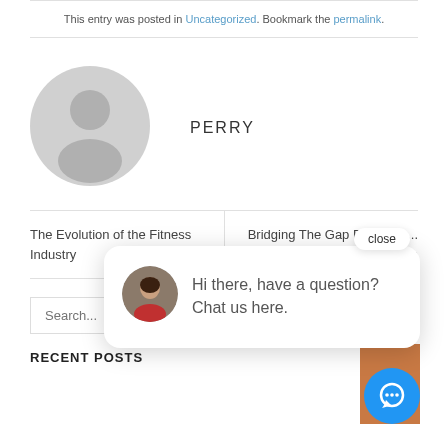This entry was posted in Uncategorized. Bookmark the permalink.
[Figure (illustration): Gray circular default user avatar with silhouette]
PERRY
The Evolution of the Fitness Industry
Bridging The Gap Between ... on
close
[Figure (photo): Woman smiling, circular avatar for chat widget]
Hi there, have a question? Chat us here.
Search...
RECENT POSTS